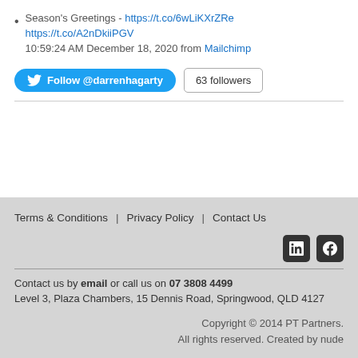Season's Greetings - https://t.co/6wLiKXrZRe https://t.co/A2nDkiiPGV 10:59:24 AM December 18, 2020 from Mailchimp
[Figure (other): Twitter Follow @darrenhagarty button and 63 followers badge]
Terms & Conditions | Privacy Policy | Contact Us
Contact us by email or call us on 07 3808 4499
Level 3, Plaza Chambers, 15 Dennis Road, Springwood, QLD 4127
Copyright © 2014 PT Partners. All rights reserved. Created by nude